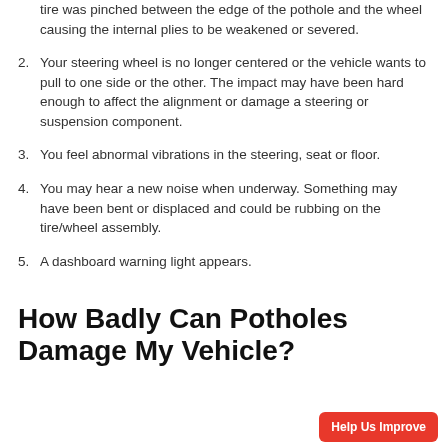tire was pinched between the edge of the pothole and the wheel causing the internal plies to be weakened or severed.
2. Your steering wheel is no longer centered or the vehicle wants to pull to one side or the other. The impact may have been hard enough to affect the alignment or damage a steering or suspension component.
3. You feel abnormal vibrations in the steering, seat or floor.
4. You may hear a new noise when underway. Something may have been bent or displaced and could be rubbing on the tire/wheel assembly.
5. A dashboard warning light appears.
How Badly Can Potholes Damage My Vehicle?